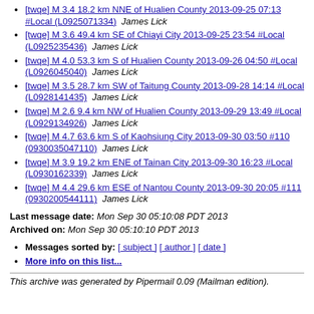[twqe] M 3.4 18.2 km NNE of Hualien County 2013-09-25 07:13 #Local (L0925071334)  James Lick
[twqe] M 3.6 49.4 km SE of Chiayi City 2013-09-25 23:54 #Local (L0925235436)  James Lick
[twqe] M 4.0 53.3 km S of Hualien County 2013-09-26 04:50 #Local (L0926045040)  James Lick
[twqe] M 3.5 28.7 km SW of Taitung County 2013-09-28 14:14 #Local (L0928141435)  James Lick
[twqe] M 2.6 9.4 km NW of Hualien County 2013-09-29 13:49 #Local (L0929134926)  James Lick
[twqe] M 4.7 63.6 km S of Kaohsiung City 2013-09-30 03:50 #110 (0930035047110)  James Lick
[twqe] M 3.9 19.2 km ENE of Tainan City 2013-09-30 16:23 #Local (L0930162339)  James Lick
[twqe] M 4.4 29.6 km ESE of Nantou County 2013-09-30 20:05 #111 (0930200544111)  James Lick
Last message date: Mon Sep 30 05:10:08 PDT 2013
Archived on: Mon Sep 30 05:10:10 PDT 2013
Messages sorted by: [ subject ] [ author ] [ date ]
More info on this list...
This archive was generated by Pipermail 0.09 (Mailman edition).